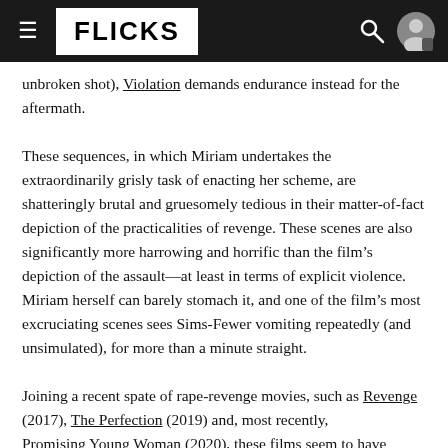FLICKS
unbroken shot), Violation demands endurance instead for the aftermath.
These sequences, in which Miriam undertakes the extraordinarily grisly task of enacting her scheme, are shatteringly brutal and gruesomely tedious in their matter-of-fact depiction of the practicalities of revenge. These scenes are also significantly more harrowing and horrific than the film’s depiction of the assault—at least in terms of explicit violence. Miriam herself can barely stomach it, and one of the film’s most excruciating scenes sees Sims-Fewer vomiting repeatedly (and unsimulated), for more than a minute straight.
Joining a recent spate of rape-revenge movies, such as Revenge (2017), The Perfection (2019) and, most recently, Promising Young Woman (2020), these films seem to have